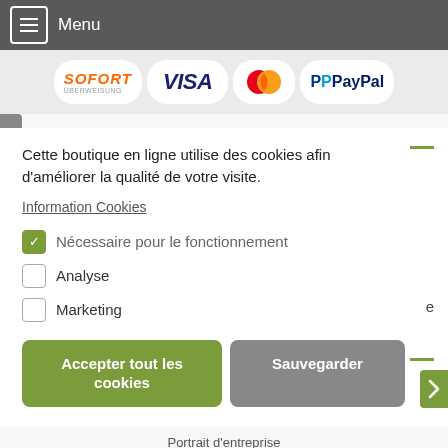Menu
[Figure (logo): Payment method logos: Sofort Überweisung, VISA, Mastercard, PayPal]
Cette boutique en ligne utilise des cookies afin d'améliorer la qualité de votre visite.
Information Cookies
Nécessaire pour le fonctionnement (checked)
Analyse (unchecked)
Marketing (unchecked)
Accepter tout les cookies
Sauvegarder
Portrait d'entreprise